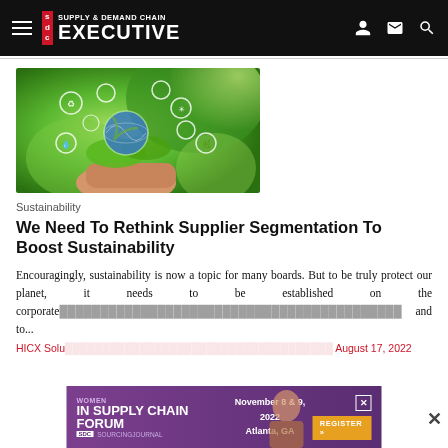Supply & Demand Chain Executive
[Figure (photo): Hands holding a glowing green earth globe surrounded by sustainability icons, with a bokeh green background.]
Sustainability
We Need To Rethink Supplier Segmentation To Boost Sustainability
Encouragingly, sustainability is now a topic for many boards. But to be truly protect our planet, it needs to be established on the corporate... and to...
HICX Solu... August 17, 2022